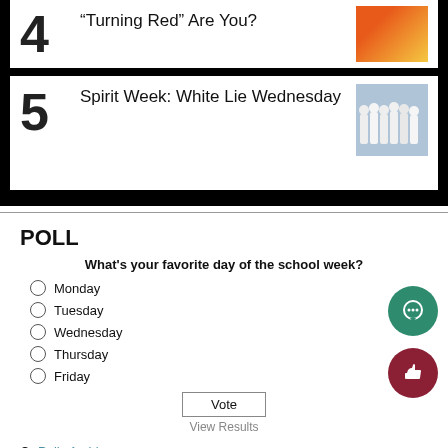4 "Turning Red" Are You?
5 Spirit Week: White Lie Wednesday
POLL
What's your favorite day of the school week?
Monday
Tuesday
Wednesday
Thursday
Friday
Vote
View Results
Polls Archive